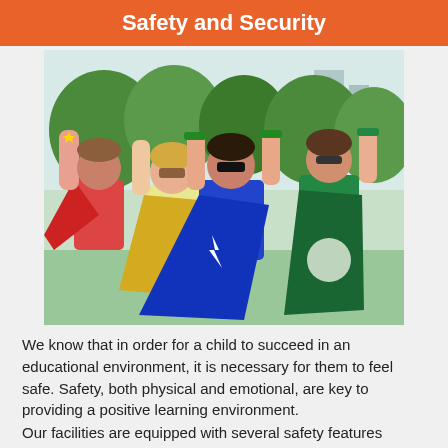Safety and Security
[Figure (photo): Three children dressed in superhero capes (red, yellow/gold, blue, and green) seen from behind with arms raised in the air, standing outdoors with green trees in the background.]
We know that in order for a child to succeed in an educational environment, it is necessary for them to feel safe. Safety, both physical and emotional, are key to providing a positive learning environment.
Our facilities are equipped with several safety features including: